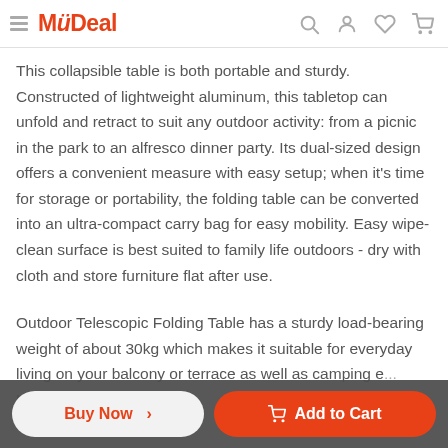MyDeal
This collapsible table is both portable and sturdy. Constructed of lightweight aluminum, this tabletop can unfold and retract to suit any outdoor activity: from a picnic in the park to an alfresco dinner party. Its dual-sized design offers a convenient measure with easy setup; when it's time for storage or portability, the folding table can be converted into an ultra-compact carry bag for easy mobility. Easy wipe-clean surface is best suited to family life outdoors - dry with cloth and store furniture flat after use.
Outdoor Telescopic Folding Table has a sturdy load-bearing weight of about 30kg which makes it suitable for everyday living on your balcony or terrace as well as camping e... Light...